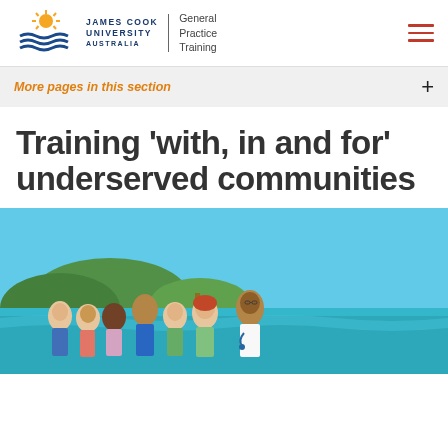James Cook University Australia | General Practice Training
More pages in this section
Training ‘with, in and for’ underserved communities
[Figure (photo): Group of diverse young people and a doctor with stethoscope standing together on a tropical island beach with turquoise water and green hills in background]